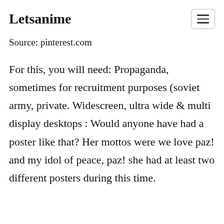Letsanime
Source: pinterest.com
For this, you will need: Propaganda, sometimes for recruitment purposes (soviet army, private. Widescreen, ultra wide & multi display desktops : Would anyone have had a poster like that? Her mottos were we love paz! and my idol of peace, paz! she had at least two different posters during this time.